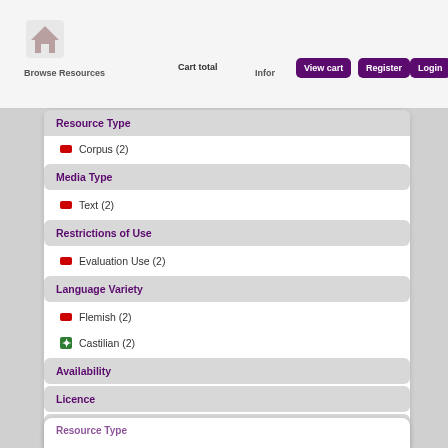Browse Resources   Cart total   Infor   View cart   Register   Login
Resource Type
Corpus (2)
Media Type
Text (2)
Restrictions of Use
Evaluation Use (2)
Language Variety
Flemish (2)
Castilian (2)
Availability
Licence
Linguality Type
Resource Type